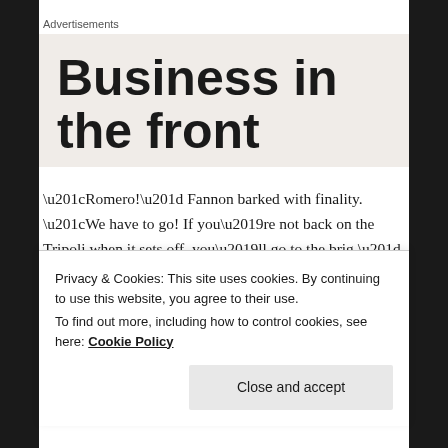Advertisements
[Figure (other): Advertisement banner showing large bold text 'Business in the front' on a beige/light background, partially visible]
“Romero!” Fannon barked with finality. “We have to go! If you’re not back on the Tripoli when it sets off, you’ll go to the brig.”
He looked back to the girl, herself hoping he could stay for just a while…
Privacy & Cookies: This site uses cookies. By continuing to use this website, you agree to their use.
To find out more, including how to control cookies, see here: Cookie Policy